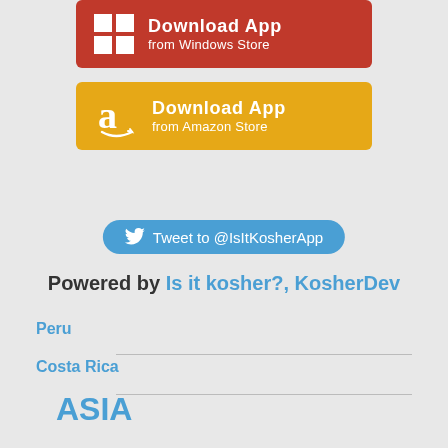[Figure (illustration): Red button with Windows logo: Download App from Windows Store]
[Figure (illustration): Orange/gold button with Amazon logo: Download App from Amazon Store]
[Figure (illustration): Blue Twitter bird button: Tweet to @IsItKosherApp]
Powered by Is it kosher?, KosherDev
Peru
Costa Rica
ASIA